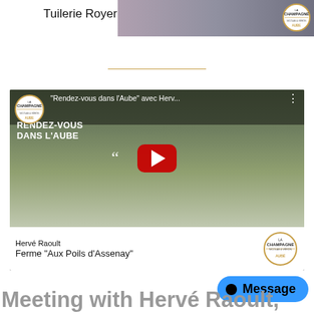Tuilerie Royer
[Figure (screenshot): YouTube video thumbnail showing a man holding a baby alpaca/llama outdoors at a farm. Video title reads: "Rendez-vous dans l'Aube" avec Herv... with overlaid text RENDEZ-VOUS DANS L'AUBE and a large red YouTube play button. Bottom caption shows Hervé Raoult, Ferme "Aux Poils d'Assenay" with La Champagne Aube badge logo.]
Hervé Raoult
Ferme "Aux Poils d'Assenay"
[Figure (screenshot): Blue Message button with circle dot icon]
Meeting with Hervé Raoult,